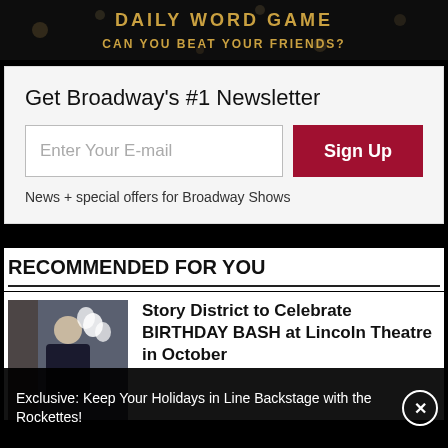[Figure (screenshot): Dark banner with golden text 'CAN YOU BEAT YOUR FRIENDS?' and partial title text above]
Get Broadway's #1 Newsletter
Enter Your E-mail
Sign Up
News + special offers for Broadway Shows
RECOMMENDED FOR YOU
[Figure (photo): Photo of a woman in a dark dress holding something, with white balloons in background]
Story District to Celebrate BIRTHDAY BASH at Lincoln Theatre in October
Exclusive: Keep Your Holidays in Line Backstage with the Rockettes!